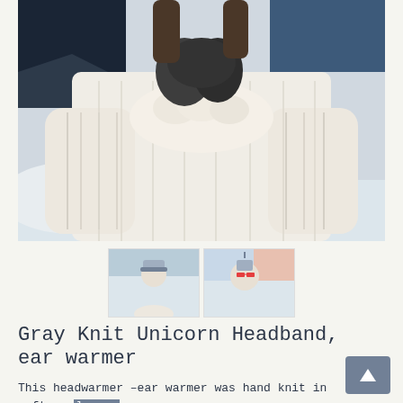[Figure (photo): Woman in a large white cable-knit sweater holding something with dark gloves, standing in a snowy winter mountain landscape. Only torso and hands visible.]
[Figure (photo): Two small thumbnail images side by side showing a person wearing a knit unicorn headband/ear warmer in a winter mountain setting.]
Gray Knit Unicorn Headband, ear warmer
This headwarmer –ear warmer was hand knit in soft wool yarn